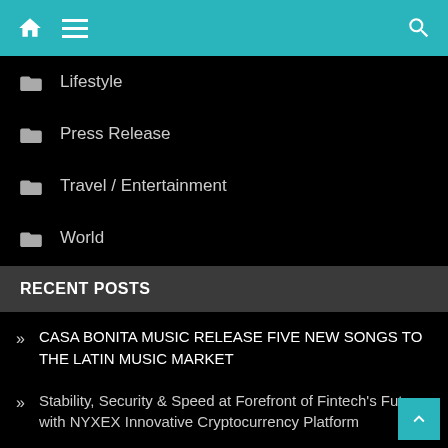Home | Menu | Search
Lifestyle
Press Release
Travel / Entertainment
World
RECENT POSTS
CASA BONITA MUSIC RELEASE FIVE NEW SONGS TO THE LATIN MUSIC MARKET
Stability, Security & Speed at Forefront of Fintech's Future with NYXEX Innovative Cryptocurrency Platform
Funded by cryptocurrencies, independent film, The Underground Sistine Chapel wins multiple awards